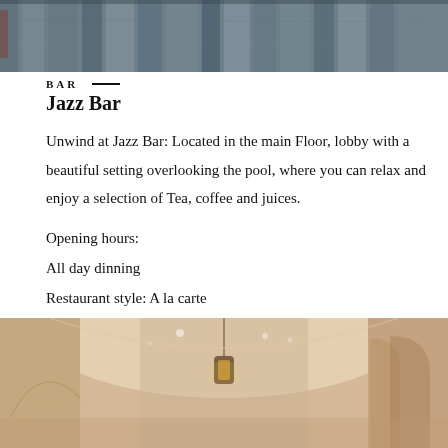[Figure (photo): Top portion of a wooden plank wall or door, dark grey-blue tones]
BAR
Jazz Bar
Unwind at Jazz Bar: Located in the main Floor, lobby with a beautiful setting overlooking the pool, where you can relax and enjoy a selection of Tea, coffee and juices.
Opening hours:
All day dinning
Restaurant style: A la carte
Dress code: Smart Casual
Smoking: Yes
[Figure (photo): Interior of a Moroccan-style venue with arched doorways and an ornate hanging lantern, warm beige tones]